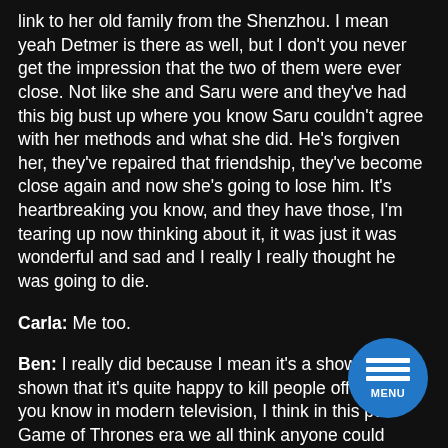link to her old family from the Shenzhou. I mean yeah Detmer is there as well, but I don't you never get the impression that the two of them were ever close. Not like she and Saru were and they've had this big bust up where you know Saru couldn't agree with her methods and what she did. He's forgiven her, they've repaired that friendship, they've become close again and now she's going to lose him. It's heartbreaking you know, and they have those, I'm tearing up now thinking about it, it was just it was wonderful and sad and I really I really thought he was going to die.
Carla: Me too.
Ben: I really did because I mean it's a show that's shown that it's quite happy to kill people off and look you know in modern television, I think in this post Game of Thrones era we all think anyone could die...